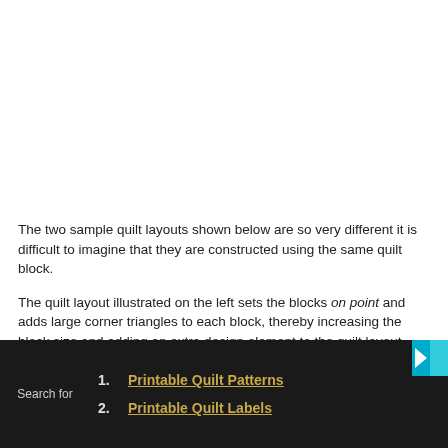The two sample quilt layouts shown below are so very different it is difficult to imagine that they are constructed using the same quilt block.
The quilt layout illustrated on the left sets the blocks on point and adds large corner triangles to each block, thereby increasing the block size and adding an extra design element to the quilt layout. The sashing strips give an extra bit of pizzazz to the resultant quilt.
Search for
1. Printable Quilt Patterns
2. Printable Quilt Labels